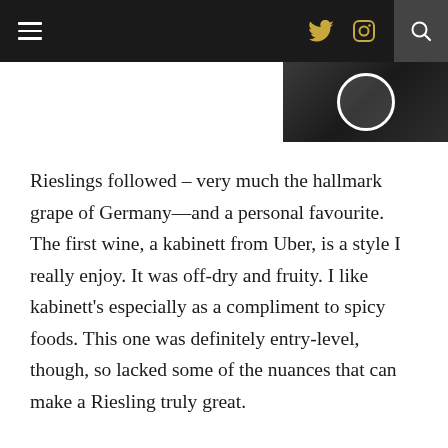Navigation bar with hamburger menu, Twitter icon, Instagram icon, and search icon
[Figure (photo): Partial image strip showing a dark background with a circular logo/emblem in white]
Rieslings followed – very much the hallmark grape of Germany—and a personal favourite. The first wine, a kabinett from Uber, is a style I really enjoy. It was off-dry and fruity. I like kabinett's especially as a compliment to spicy foods. This one was definitely entry-level, though, so lacked some of the nuances that can make a Riesling truly great.
The second Riesling was Loosen Bros 2014 and was likely also kabinett (the label